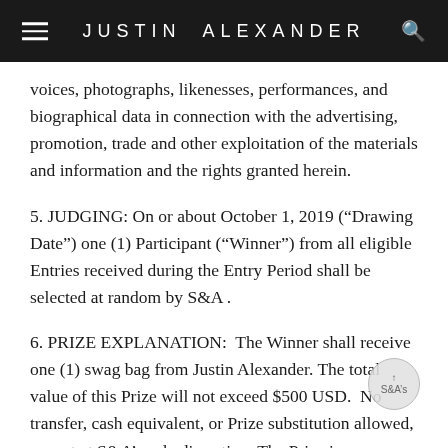JUSTIN ALEXANDER
voices, photographs, likenesses, performances, and biographical data in connection with the advertising, promotion, trade and other exploitation of the materials and information and the rights granted herein.
5. JUDGING: On or about October 1, 2019 (“Drawing Date”) one (1) Participant (“Winner”) from all eligible Entries received during the Entry Period shall be selected at random by S&A .
6. PRIZE EXPLANATION:  The Winner shall receive one (1) swag bag from Justin Alexander. The total value of this Prize will not exceed $500 USD.  No transfer, cash equivalent, or Prize substitution allowed, except at S&A’s sole discretion. The Prize is nontransferable.  Any and all